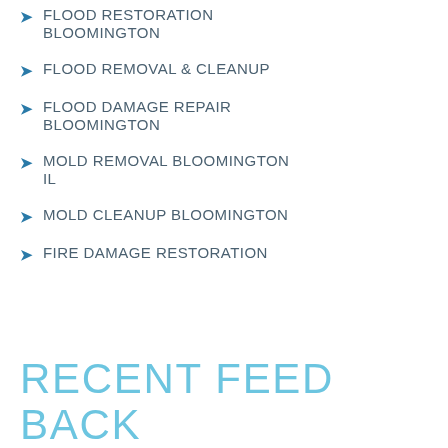FLOOD RESTORATION BLOOMINGTON
FLOOD REMOVAL & CLEANUP
FLOOD DAMAGE REPAIR BLOOMINGTON
MOLD REMOVAL BLOOMINGTON IL
MOLD CLEANUP BLOOMINGTON
FIRE DAMAGE RESTORATION
RECENT FEED BACK